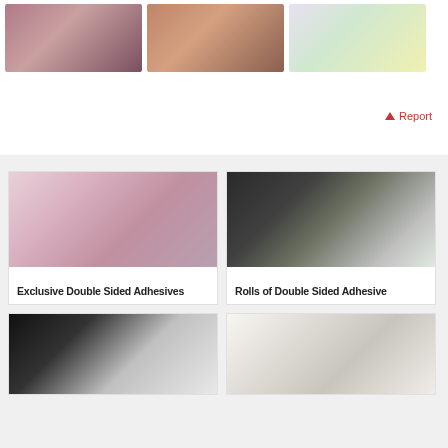[Figure (photo): Three scrapbook layout photos arranged in a row — a pink/purple family theme, a brown/red collage with photos, and a colorful art/craft supplies layout]
⚠ Report
[Figure (photo): Card showing a close-up of hands working with pink paper and adhesive, labeled 'Exclusive Double Sided Adhesives']
[Figure (photo): Card showing a person unrolling a roll of double sided adhesive tape, labeled 'Rolls of Double Sided Adhesive']
[Figure (photo): Partial card showing a white circular adhesive dispenser tool on dark background]
[Figure (photo): Partial card showing a white desk organizer with craft supplies/paper rolls]